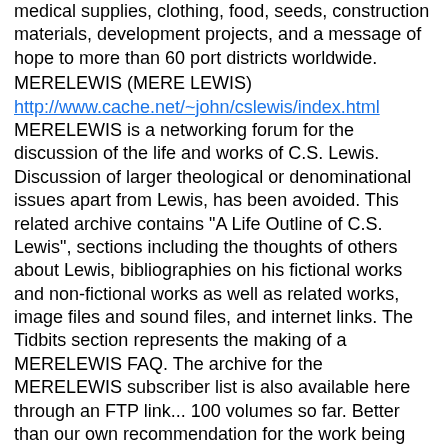medical supplies, clothing, food, seeds, construction materials, development projects, and a message of hope to more than 60 port districts worldwide.
MERELEWIS (MERE LEWIS)
http://www.cache.net/~john/cslewis/index.html
MERELEWIS is a networking forum for the discussion of the life and works of C.S. Lewis. Discussion of larger theological or denominational issues apart from Lewis, has been avoided. This related archive contains "A Life Outline of C.S. Lewis", sections including the thoughts of others about Lewis, bibliographies on his fictional works and non-fictional works as well as related works, image files and sound files, and internet links. The Tidbits section represents the making of a MERELEWIS FAQ. The archive for the MERELEWIS subscriber list is also available here through an FTP link... 100 volumes so far. Better than our own recommendation for the work being done at MERELEWIS is the "well done" that Douglas Gresham, C.S. Lewis' stepson gave to this site, and which can be seen when you visit.
MESSENGER FILMS [new 2/97]
http://www.infi.net/~films/
Messenger Films abides in the believe that